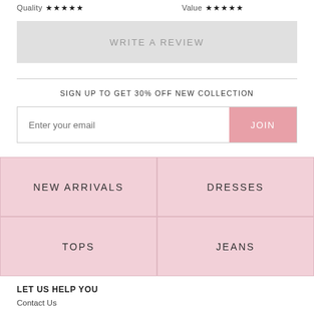Quality ★★★★★   Value ★★★★★
WRITE A REVIEW
SIGN UP TO GET 30% OFF NEW COLLECTION
Enter your email  JOIN
NEW ARRIVALS
DRESSES
TOPS
JEANS
LET US HELP YOU
Contact Us